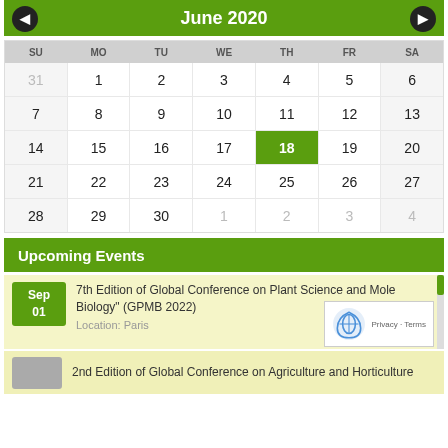June 2020
| SU | MO | TU | WE | TH | FR | SA |
| --- | --- | --- | --- | --- | --- | --- |
| 31 | 1 | 2 | 3 | 4 | 5 | 6 |
| 7 | 8 | 9 | 10 | 11 | 12 | 13 |
| 14 | 15 | 16 | 17 | 18 | 19 | 20 |
| 21 | 22 | 23 | 24 | 25 | 26 | 27 |
| 28 | 29 | 30 | 1 | 2 | 3 | 4 |
Upcoming Events
7th Edition of Global Conference on Plant Science and Molecular Biology" (GPMB 2022)
Location: Paris
2nd Edition of Global Conference on Agriculture and Horticulture